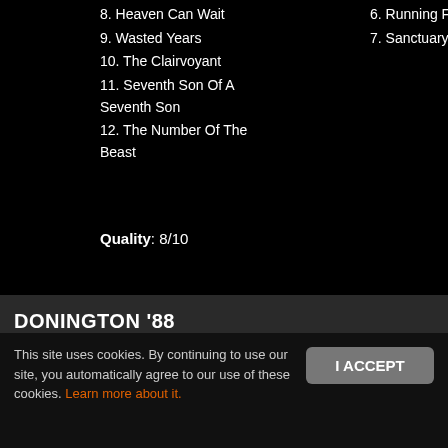8. Heaven Can Wait
9. Wasted Years
10. The Clairvoyant
11. Seventh Son Of A Seventh Son
12. The Number Of The Beast
6. Running Free
7. Sanctuary
Quality: 8/10
DONINGTON '88
Donington Park
Castle Donington, England – UK
22nd August 1988
[Figure (photo): Concert photo of Iron Maiden performers on stage]
CD1
CD2
This site uses cookies. By continuing to use our site, you automatically agree to our use of these cookies. Learn more about it.